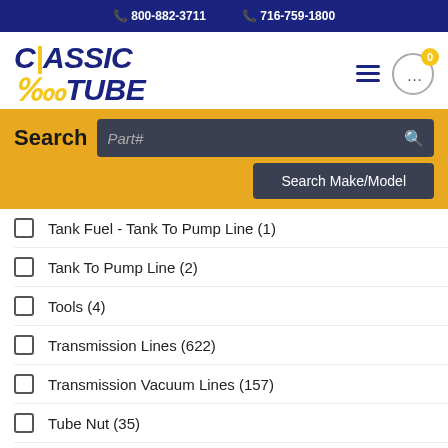📞 800-882-3711   📞 716-759-1800
[Figure (logo): Classic Tube logo in bold italic blue text with yellow accent]
Search  Part#  Search Make/Model
Tank Fuel - Tank To Pump Line (1)
Tank To Pump Line (2)
Tools (4)
Transmission Lines (622)
Transmission Vacuum Lines (157)
Tube Nut (35)
Tubing Coils (32)
Tubing Coils Line Clamps (4)